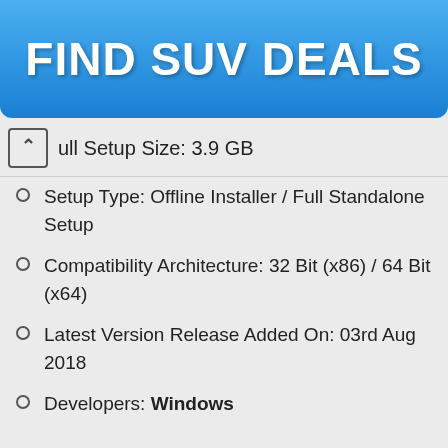[Figure (screenshot): Blue advertisement banner button with white bold text reading FIND SUV DEALS]
Full Setup Size: 3.9 GB
Setup Type: Offline Installer / Full Standalone Setup
Compatibility Architecture: 32 Bit (x86) / 64 Bit (x64)
Latest Version Release Added On: 03rd Aug 2018
Developers: Windows